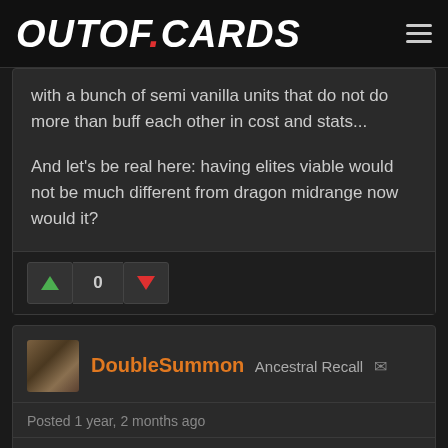OUTOF.CARDS
with a bunch of semi vanilla units that do not do more than buff each other in cost and stats...
And let's be real here: having elites viable would not be much different from dragon midrange now would it?
0
DoubleSummon Ancestral Recall
Posted 1 year, 2 months ago
Quote From TheTriferianGeneral